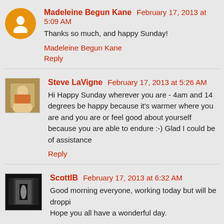Madeleine Begun Kane  February 17, 2013 at 5:09 AM
Thanks so much, and happy Sunday!
Madeleine Begun Kane
Reply
Steve LaVigne  February 17, 2013 at 5:26 AM
Hi Happy Sunday wherever you are - 4am and 14 degrees be happy because it's warmer where you are and you are or feel good about yourself because you are able to endure :-) Glad I could be of assistance
Reply
ScottIB  February 17, 2013 at 6:32 AM
Good morning everyone, working today but will be droppi Hope you all have a wonderful day.